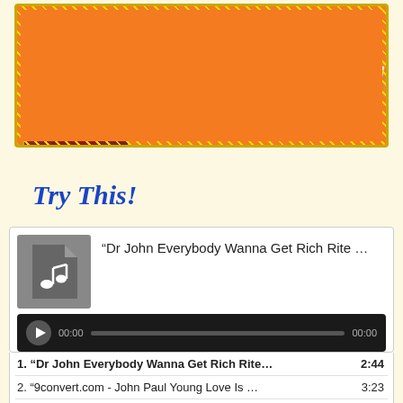[Figure (logo): SophieChannel.com orange banner with logo text 'SophieChannel' in white italic script, gold glitter border, photo of woman in red dress on left, sparkle effects]
Try This!
[Figure (screenshot): Music player widget showing track '"Dr John Everybody Wanna Get Rich Rite ..."' with gray music file icon, black playbar with play button showing 00:00 timestamps and progress bar]
| Track | Duration |
| --- | --- |
| 1. “Dr John Everybody Wanna Get Rich Rite… | 2:44 |
| 2. “9convert.com - John Paul Young Love Is … | 3:23 |
| 3. “9convert.com - Mamma Mia Does Your … | 3:08 |
| 4. “9convert.com - The Little Mermaid Unde… | 3:27 |